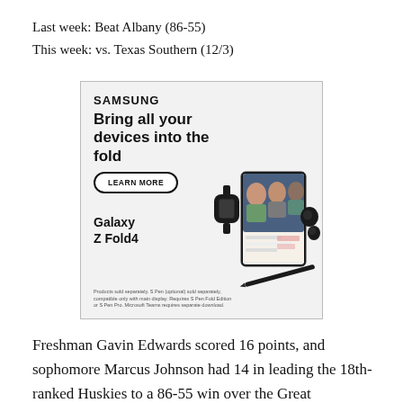Last week: Beat Albany (86-55)
This week: vs. Texas Southern (12/3)
[Figure (illustration): Samsung advertisement for Galaxy Z Fold4. Shows Samsung logo, headline 'Bring all your devices into the fold', a 'LEARN MORE' button, product images of Galaxy Z Fold4 phone open showing video call, a smartwatch, wireless earbuds, and a stylus pen. Disclaimer text at bottom.]
Freshman Gavin Edwards scored 16 points, and sophomore Marcus Johnson had 14 in leading the 18th-ranked Huskies to a 86-55 win over the Great